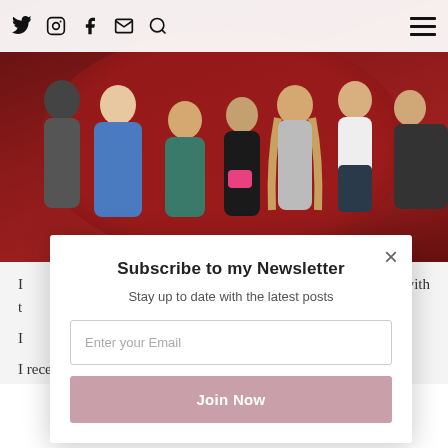Social icons: Twitter, Instagram, Facebook, Email, Search; Hamburger menu
[Figure (photo): Group photo of approximately 6-7 people standing together against a dark red circular/oval backdrop. One person is wearing a blue floral dress, another in a teal sweater, and others in casual clothing. One person holds a pink item.]
I ... with
t
I
I recei
Subscribe to my Newsletter
Stay up to date with the latest posts
Enter your Email
Join Now